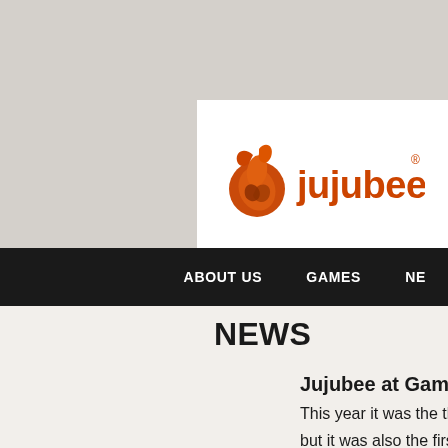[Figure (logo): Jujubee company logo: orange spiral/flame graphic mark on the left, orange text 'jujubee' with registered trademark symbol]
ABOUT US   GAMES   NE
NEWS
Jujubee at Gamesco
This year it was the thi
but it was also the firs
a higher scale - in the